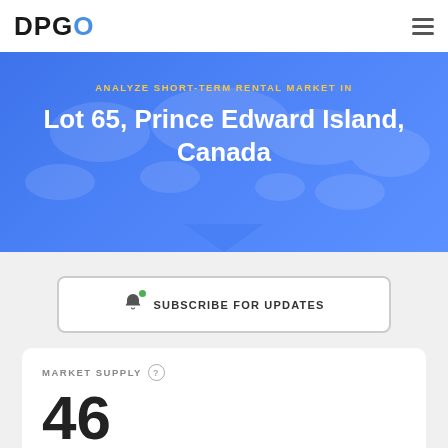DPGO
ANALYZE SHORT-TERM RENTAL MARKET IN
Lot 65, Prince Edward Island, Canada
SUBSCRIBE FOR UPDATES
MARKET SUPPLY
46